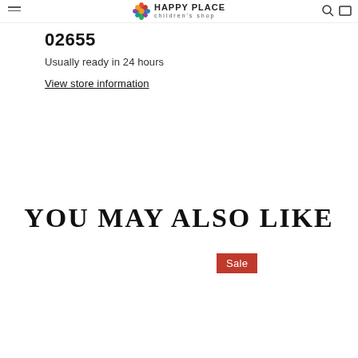children's shop
02655
Usually ready in 24 hours
View store information
YOU MAY ALSO LIKE
Sale